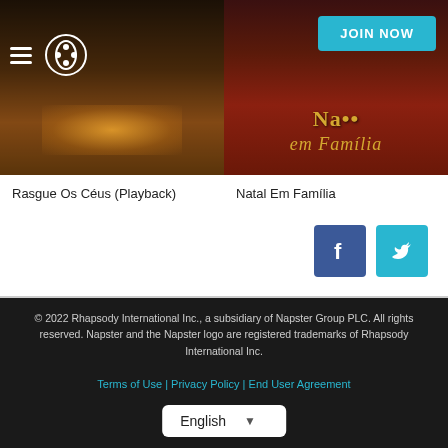[Figure (screenshot): Album artwork for Rasgue Os Céus (Playback) — dark stage with orange lighting]
[Figure (screenshot): Album artwork for Natal Em Família — dark red background with gold text 'Natal em Família']
Rasgue Os Céus (Playback)
Natal Em Família
[Figure (logo): Facebook icon — white F on blue square]
[Figure (logo): Twitter icon — white bird on cyan square]
© 2022 Rhapsody International Inc., a subsidiary of Napster Group PLC. All rights reserved. Napster and the Napster logo are registered trademarks of Rhapsody International Inc.
Terms of Use | Privacy Policy | End User Agreement
English